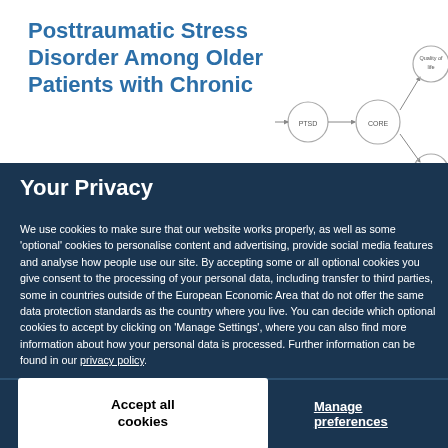Posttraumatic Stress Disorder Among Older Patients with Chronic
[Figure (flowchart): A schematic/flowchart diagram showing circles labeled PTSD, CORE, Quality of life, and Trauma connected by arrows, partially visible in the top right of the page.]
Your Privacy
We use cookies to make sure that our website works properly, as well as some 'optional' cookies to personalise content and advertising, provide social media features and analyse how people use our site. By accepting some or all optional cookies you give consent to the processing of your personal data, including transfer to third parties, some in countries outside of the European Economic Area that do not offer the same data protection standards as the country where you live. You can decide which optional cookies to accept by clicking on 'Manage Settings', where you can also find more information about how your personal data is processed. Further information can be found in our privacy policy.
Accept all cookies
Manage preferences